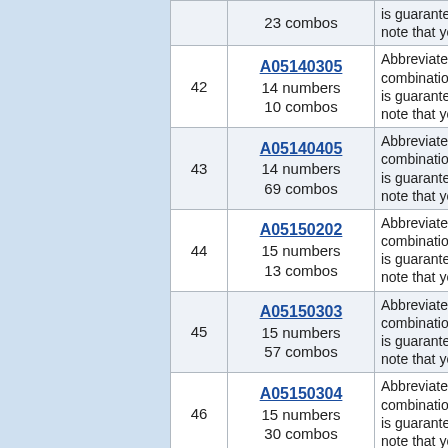| # | Code | Description |
| --- | --- | --- |
|  | 23 combos | is guaranteed... note that you |
| 42 | A05140305
14 numbers
10 combos | Abbreviated W... combinations... is guaranteed... note that you |
| 43 | A05140405
14 numbers
69 combos | Abbreviated W... combinations... is guaranteed... note that you |
| 44 | A05150202
15 numbers
13 combos | Abbreviated W... combinations... is guaranteed... note that you |
| 45 | A05150303
15 numbers
57 combos | Abbreviated W... combinations... is guaranteed... note that you |
| 46 | A05150304
15 numbers
30 combos | Abbreviated W... combinations... is guaranteed... note that you |
|  | A05150305 | Abbreviated W... combinations... |